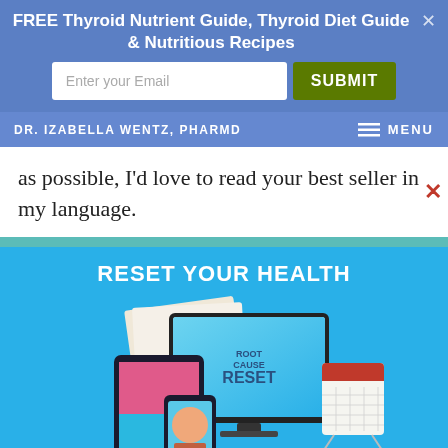FREE Thyroid Nutrient Guide, Thyroid Diet Guide & Nutritious Recipes
Enter your Email
DR. IZABELLA WENTZ, PHARMD
as possible, I'd love to read your best seller in my language.
RESET YOUR HEALTH
[Figure (screenshot): Product mockup showing Root Cause Reset program on desktop monitor, tablet, and mobile phone, along with a calendar and printed documents]
My Root Cause Reset program walks you through 4 simple steps to support your liver and jumpstart your healing, so you feel brighter, happier and more alive — quickly.